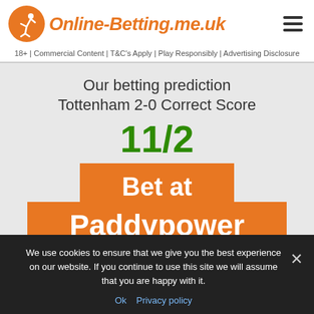Online-Betting.me.uk
18+ | Commercial Content | T&C's Apply | Play Responsibly | Advertising Disclosure
Our betting prediction Tottenham 2-0 Correct Score
11/2
[Figure (other): Orange call-to-action button reading 'Bet at Paddypower' with underlined Paddypower text]
We use cookies to ensure that we give you the best experience on our website. If you continue to use this site we will assume that you are happy with it.
Ok   Privacy policy